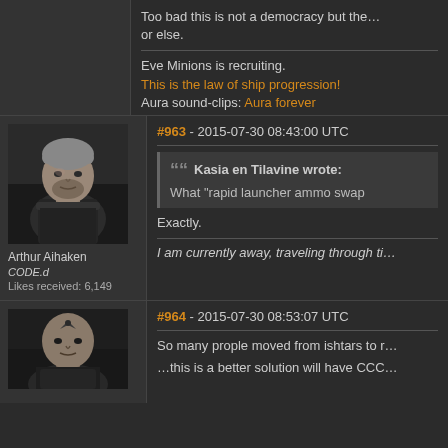Too bad this is not a democracy but the... or else.
Eve Minions is recruiting.
This is the law of ship progression!
Aura sound-clips: Aura forever
[Figure (photo): Forum avatar of Arthur Aihaken - male character with grey hair in dark armor]
Arthur Aihaken
CODE.d
Likes received: 6,149
#963 - 2015-07-30 08:43:00 UTC
Kasia en Tilavine wrote: What "rapid launcher ammo swap
Exactly.
I am currently away, traveling through ti...
[Figure (photo): Forum avatar of second user - bald character with dark symbols on head]
#964 - 2015-07-30 08:53:07 UTC
So many prople moved from ishtars to r...
...this is a better solution will have CCC...